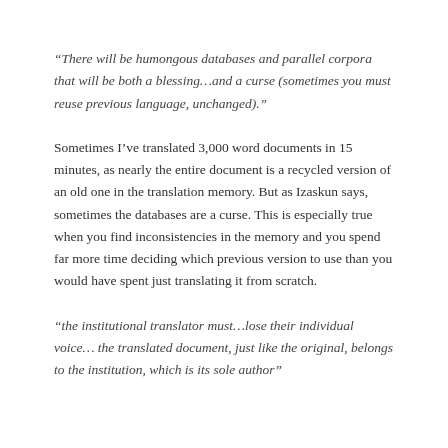“There will be humongous databases and parallel corpora that will be both a blessing…and a curse (sometimes you must reuse previous language, unchanged).”
Sometimes I’ve translated 3,000 word documents in 15 minutes, as nearly the entire document is a recycled version of an old one in the translation memory. But as Izaskun says, sometimes the databases are a curse. This is especially true when you find inconsistencies in the memory and you spend far more time deciding which previous version to use than you would have spent just translating it from scratch.
“the institutional translator must…lose their individual voice… the translated document, just like the original, belongs to the institution, which is its sole author”